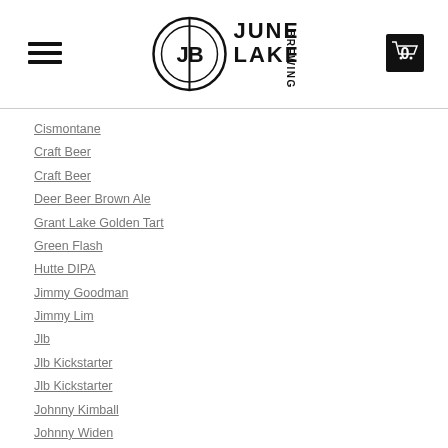June Lake Brewing — navigation header with hamburger menu, logo, and cart icon
Cismontane
Craft Beer
Craft Beer
Deer Beer Brown Ale
Grant Lake Golden Tart
Green Flash
Hutte DIPA
Jimmy Goodman
Jimmy Lim
Jlb
Jlb Kickstarter
Jlb Kickstarter
Johnny Kimball
Johnny Widen
June Lake
June Lake Autumn Beer Festival
June Lake Brewing
Junemontane HiPA